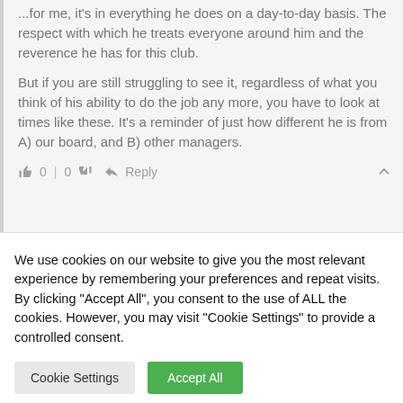...for me, it's in everything he does on a day-to-day basis. The respect with which he treats everyone around him and the reverence he has for this club.
But if you are still struggling to see it, regardless of what you think of his ability to do the job any more, you have to look at times like these. It's a reminder of just how different he is from A) our board, and B) other managers.
0 | 0   Reply
We use cookies on our website to give you the most relevant experience by remembering your preferences and repeat visits. By clicking "Accept All", you consent to the use of ALL the cookies. However, you may visit "Cookie Settings" to provide a controlled consent.